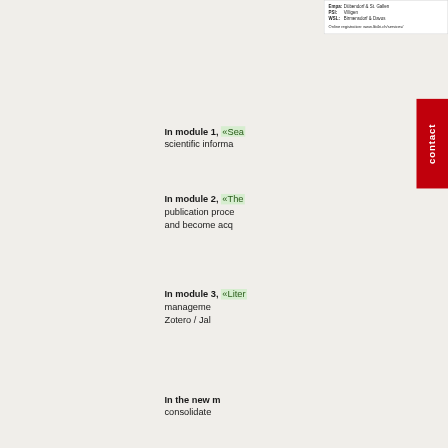| Empa: | Dübendorf & St. Gallen |
| PSI: | Villigen |
| WSL: | Birmensdorf & Davos |
Online registration: www.lib4ri.ch/services/...
In module 1, «Sea scientific informa
In module 2, «The publication proce and become acq
In module 3, «Liter manageme Zotero / Jal
In the new m consolidate